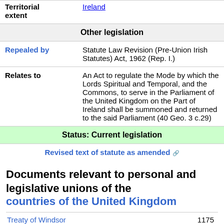|  |  |
| --- | --- |
| Territorial extent | Ireland |
| Other legislation |  |
| Repealed by | Statute Law Revision (Pre-Union Irish Statutes) Act, 1962 (Rep. I.) |
| Relates to | An Act to regulate the Mode by which the Lords Spiritual and Temporal, and the Commons, to serve in the Parliament of the United Kingdom on the Part of Ireland shall be summoned and returned to the said Parliament (40 Geo. 3 c.29) |
| Status: Current legislation |  |
| Revised text of statute as amended |  |
Documents relevant to personal and legislative unions of the countries of the United Kingdom
|  | Year |
| --- | --- |
| Treaty of Windsor | 1175 |